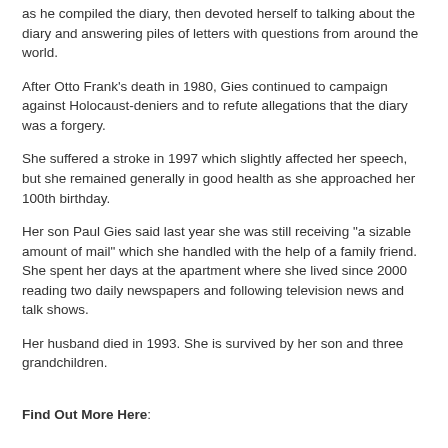as he compiled the diary, then devoted herself to talking about the diary and answering piles of letters with questions from around the world.
After Otto Frank's death in 1980, Gies continued to campaign against Holocaust-deniers and to refute allegations that the diary was a forgery.
She suffered a stroke in 1997 which slightly affected her speech, but she remained generally in good health as she approached her 100th birthday.
Her son Paul Gies said last year she was still receiving "a sizable amount of mail" which she handled with the help of a family friend. She spent her days at the apartment where she lived since 2000 reading two daily newspapers and following television news and talk shows.
Her husband died in 1993. She is survived by her son and three grandchildren.
Find Out More Here:
Anne Frank: The Diary of a Young Girl